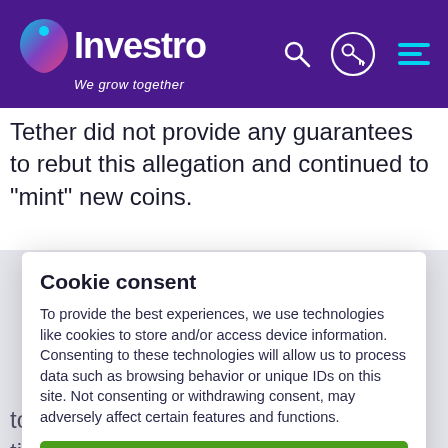Investro — We grow together
Tether did not provide any guarantees to rebut this allegation and continued to "mint" new coins.
Cookie consent
To provide the best experiences, we use technologies like cookies to store and/or access device information. Consenting to these technologies will allow us to process data such as browsing behavior or unique IDs on this site. Not consenting or withdrawing consent, may adversely affect certain features and functions.
Accept
Settings
to maintain value even in turbulent times will certainly be